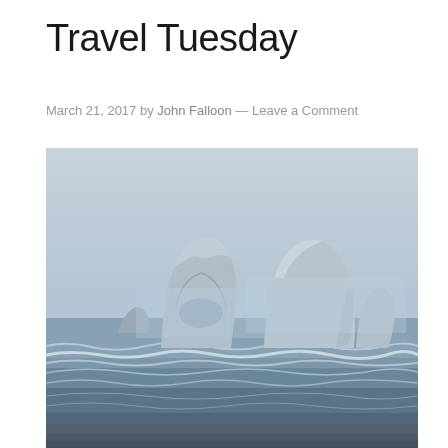Travel Tuesday
March 21, 2017 by John Falloon — Leave a Comment
[Figure (photo): Coastal ocean scene with rocky sea stacks including an arch formation in the foreground surf, shot in hazy misty conditions. Large rock formation with a natural arch on the left, tall jagged cliff rock on the right, with waves breaking on the beach in the foreground.]